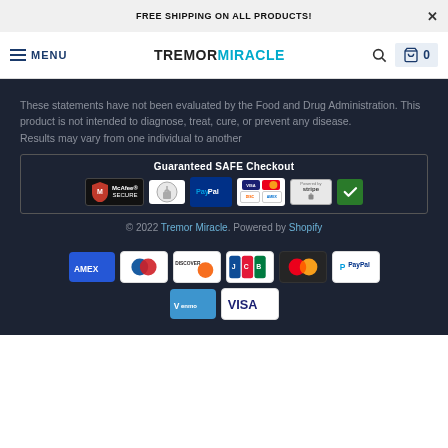FREE SHIPPING ON ALL PRODUCTS!
[Figure (screenshot): Navigation bar with hamburger menu, MENU text, TREMORMIRACLE logo, search icon, and cart icon showing 0 items]
These statements have not been evaluated by the Food and Drug Administration. This product is not intended to diagnose, treat, cure, or prevent any disease.
Results may vary from one individual to another
[Figure (infographic): Guaranteed SAFE Checkout badge with McAfee SECURE, SSL certificate, PayPal, Visa/Mastercard/Discover/Amex, Stripe, and verified checkmark logos]
© 2022 Tremor Miracle. Powered by Shopify
[Figure (infographic): Payment method logos: American Express, Diners Club, Discover, JCB, Mastercard, PayPal, Venmo, Visa]